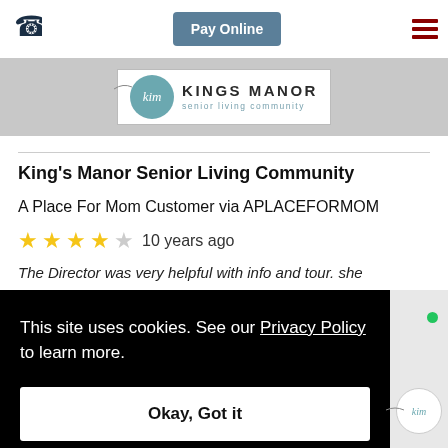Pay Online | [phone icon] | [hamburger menu]
[Figure (logo): Kings Manor Senior Living Community logo with teal circle and kim script text]
King's Manor Senior Living Community
A Place For Mom Customer via APLACEFORMOM
★★★★☆ 10 years ago
The Director was very helpful with info and tour. she
This site uses cookies. See our Privacy Policy to learn more.
Okay, Got it